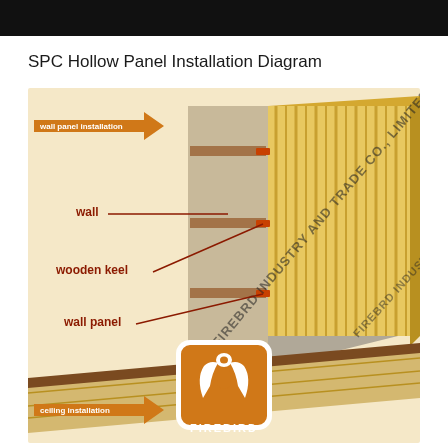SPC Hollow Panel Installation Diagram
[Figure (engineering-diagram): SPC Hollow Panel installation diagram showing a 3D cutaway view of wall panel installation. Labels indicate: wall panel installation (orange arrow, top left), wall (dark red label with line), wooden keel (dark red label with line), wall panel (dark red label with line), ceiling installation (orange arrow, bottom left). The diagram shows wall panels (yellow/gold ribbed panels) attached to a wooden keel framework mounted on a wall. The Firebird company logo and watermark text 'FIREBRD INDUSTRY AND TRADE CO. LIMITED' appears diagonally across the image. A Firebird logo badge (orange phoenix on white square with rounded corners, with FIREBIRD text) appears in the lower center.]